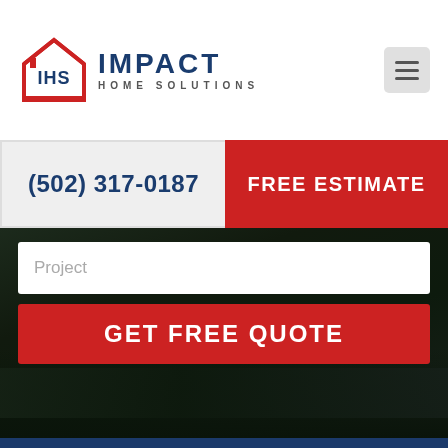[Figure (logo): IHS Impact Home Solutions logo with red house icon and dark blue text]
[Figure (other): Hamburger menu icon (three horizontal lines) on light gray background]
(502) 317-0187
FREE ESTIMATE
Project
GET FREE QUOTE
[Figure (logo): IHS Impact Home Solutions white logo on dark blue background, with IMPACT text and HOME SOLUTIONS below]